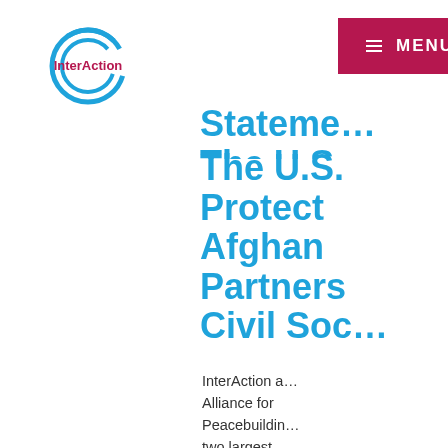[Figure (logo): InterAction logo — two concentric circular arcs in blue forming a globe-like symbol with 'InterAction' text in dark red/maroon inside]
MENU
Statement: The U.S. Must Protect Afghan Partners Civil Society
InterAction and Alliance for Peacebuilding two largest networks of international